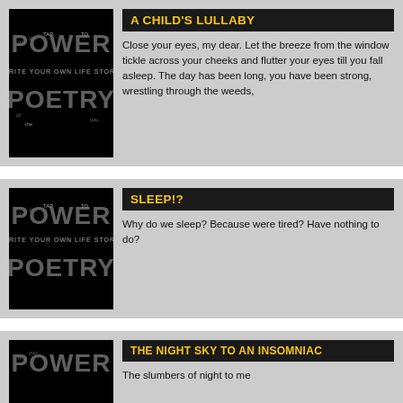[Figure (illustration): Power Poetry logo on black background - decorative text art]
A CHILD'S LULLABY
Close your eyes, my dear. Let the breeze from the window tickle across your cheeks and flutter your eyes till you fall asleep. The day has been long, you have been strong, wrestling through the weeds,
[Figure (illustration): Power Poetry logo on black background - decorative text art]
SLEEP!?
Why do we sleep? Because were tired? Have nothing to do?
[Figure (illustration): Power Poetry logo on black background - decorative text art (partial)]
THE NIGHT SKY TO AN INSOMNIAC
The slumbers of night to me